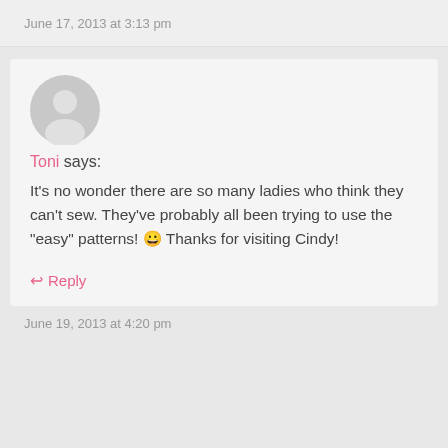June 17, 2013 at 3:13 pm
[Figure (illustration): Generic user avatar circle with person silhouette in light gray]
Toni says:
It's no wonder there are so many ladies who think they can't sew. They've probably all been trying to use the "easy" patterns! 😀 Thanks for visiting Cindy!
↩ Reply
June 19, 2013 at 4:20 pm